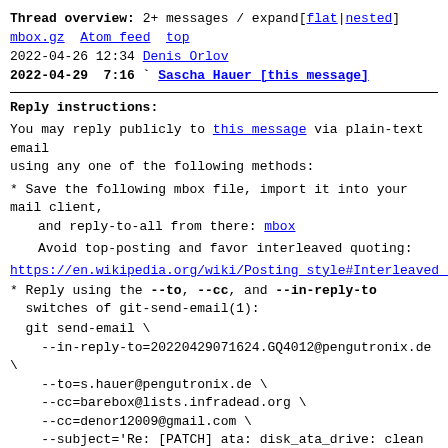Thread overview: 2+ messages / expand[flat|nested]
mbox.gz  Atom feed  top
2022-04-26 12:34 Denis Orlov
2022-04-29  7:16 ` Sascha Hauer [this message]
Reply instructions:
You may reply publicly to this message via plain-text email
using any one of the following methods:
* Save the following mbox file, import it into your mail client,
   and reply-to-all from there: mbox
Avoid top-posting and favor interleaved quoting:
https://en.wikipedia.org/wiki/Posting_style#Interleaved_s
* Reply using the --to, --cc, and --in-reply-to
  switches of git-send-email(1):
git send-email \
    --in-reply-to=20220429071624.GQ4012@pengutronix.de \
    --to=s.hauer@pengutronix.de \
    --cc=barebox@lists.infradead.org \
    --cc=denor12009@gmail.com \
    --subject='Re: [PATCH] ata: disk_ata_drive: clean